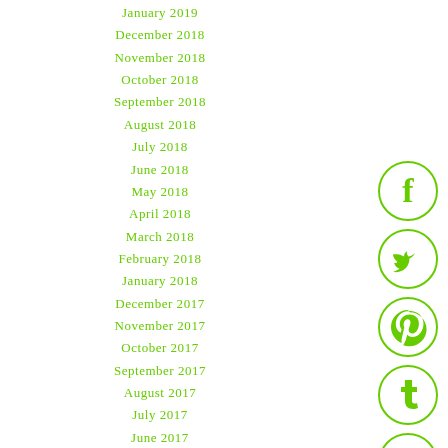January 2019
December 2018
November 2018
October 2018
September 2018
August 2018
July 2018
June 2018
May 2018
April 2018
March 2018
February 2018
January 2018
December 2017
November 2017
October 2017
September 2017
August 2017
July 2017
June 2017
May 2017
April 2017
March 2017
[Figure (illustration): Social media icons: Facebook, Twitter, Pinterest, Tumblr, StumbleUpon — green circle outlines with white symbols]